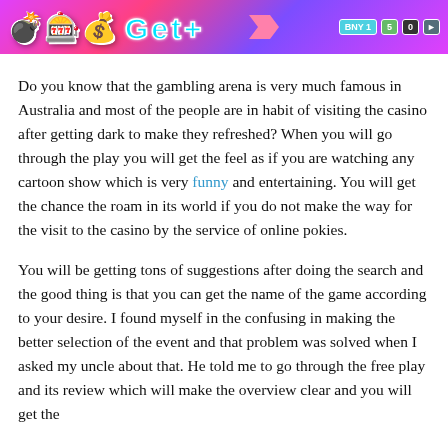[Figure (screenshot): Banner image showing a colorful casino/pokies game interface with stylized bubble letters in cyan/blue, a pink arrow shape, and a UI panel with 'BNY 1' and colored buttons on a pink/purple gradient background.]
Do you know that the gambling arena is very much famous in Australia and most of the people are in habit of visiting the casino after getting dark to make they refreshed? When you will go through the play you will get the feel as if you are watching any cartoon show which is very funny and entertaining. You will get the chance the roam in its world if you do not make the way for the visit to the casino by the service of online pokies.
You will be getting tons of suggestions after doing the search and the good thing is that you can get the name of the game according to your desire. I found myself in the confusing in making the better selection of the event and that problem was solved when I asked my uncle about that. He told me to go through the free play and its review which will make the overview clear and you will get the